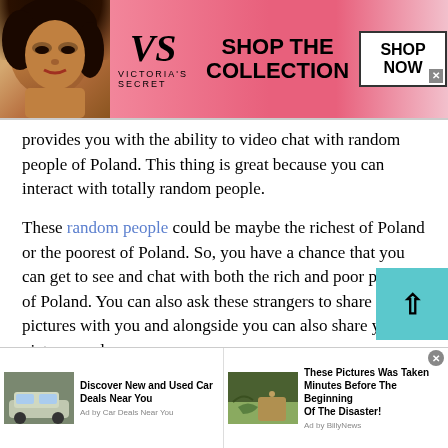[Figure (screenshot): Victoria's Secret advertisement banner with model, logo, 'SHOP THE COLLECTION' text and 'SHOP NOW' button]
provides you with the ability to video chat with random people of Poland. This thing is great because you can interact with totally random people.
These random people could be maybe the richest of Poland or the poorest of Poland. So, you have a chance that you can get to see and chat with both the rich and poor people of Poland. You can also ask these strangers to share pictures with you and alongside you can also share your pictures and
[Figure (screenshot): Bottom advertisement bar with two ad units: 'Discover New and Used Car Deals Near You' by Car Deals Near You, and 'These Pictures Was Taken Minutes Before The Beginning Of The Disaster!' by BillyNews]